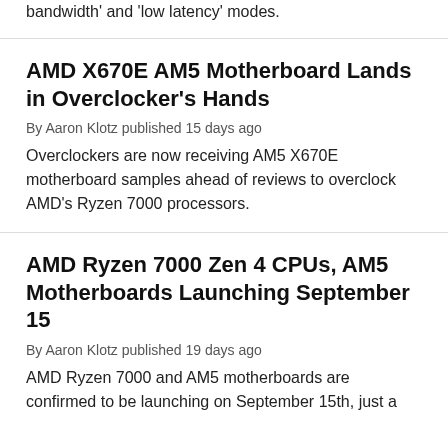bandwidth' and 'low latency' modes.
AMD X670E AM5 Motherboard Lands in Overclocker's Hands
By Aaron Klotz published 15 days ago
Overclockers are now receiving AM5 X670E motherboard samples ahead of reviews to overclock AMD's Ryzen 7000 processors.
AMD Ryzen 7000 Zen 4 CPUs, AM5 Motherboards Launching September 15
By Aaron Klotz published 19 days ago
AMD Ryzen 7000 and AM5 motherboards are confirmed to be launching on September 15th, just a